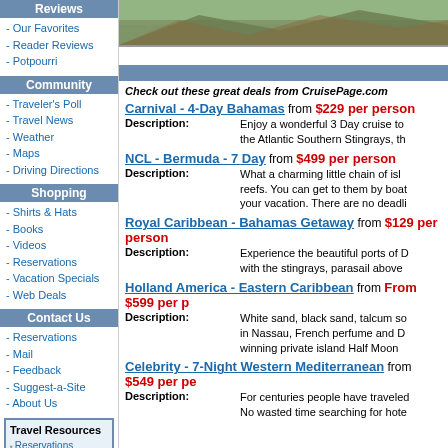Reviews
- Our Favorites
- Reader Reviews
- Potpourri
Community
- Traveler's Poll
- Travel News
- Weather
- Maps
- Driving Directions
Shopping
- Shirts & Hats
- Books
- Videos
- Reservations
- Vacation Specials
- Web Deals
Contact Us
- Reservations
- Mail
- Feedback
- Suggest-a-Site
- About Us
Travel Resources: Reservations, Destinations, Hotels, Air Travel, Cruise Travel, News/Weather
[Figure (photo): Aerial/landscape photo of terrain, brownish-green hills]
Check out these great deals from CruisePage.com
Carnival - 4-Day Bahamas from $229 per person
Description: Enjoy a wonderful 3 Day cruise to the Atlantic Southern Stingrays, th...
NCL - Bermuda - 7 Day from $499 per person
Description: What a charming little chain of islands surrounded by coral reefs. You can get to them by boat... your vacation. There are no deadli...
Royal Caribbean - Bahamas Getaway from $129 per person
Description: Experience the beautiful ports of D... with the stingrays, parasail above...
Holland America - Eastern Caribbean from From $599 per p...
Description: White sand, black sand, talcum so... in Nassau, French perfume and D... winning private island Half Moon...
Celebrity - 7-Night Western Mediterranean from $549 per pe...
Description: For centuries people have traveled... No wasted time searching for hote...